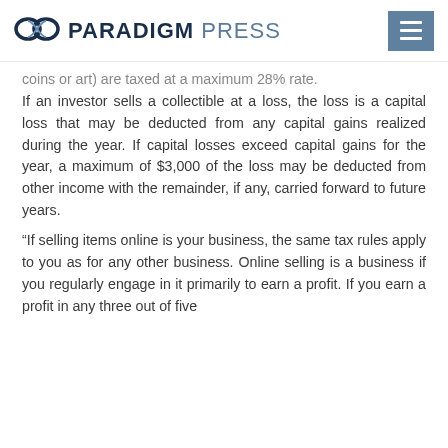PARADIGM PRESS
coins or art) are taxed at a maximum 28% rate. If an investor sells a collectible at a loss, the loss is a capital loss that may be deducted from any capital gains realized during the year. If capital losses exceed capital gains for the year, a maximum of $3,000 of the loss may be deducted from other income with the remainder, if any, carried forward to future years.
“If selling items online is your business, the same tax rules apply to you as for any other business. Online selling is a business if you regularly engage in it primarily to earn a profit. If you earn a profit in any three out of five